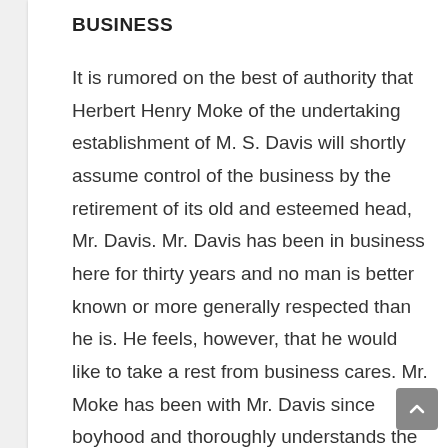BUSINESS
It is rumored on the best of authority that Herbert Henry Moke of the undertaking establishment of M. S. Davis will shortly assume control of the business by the retirement of its old and esteemed head, Mr. Davis. Mr. Davis has been in business here for thirty years and no man is better known or more generally respected than he is. He feels, however, that he would like to take a rest from business cares. Mr. Moke has been with Mr. Davis since boyhood and thoroughly understands the business in all its